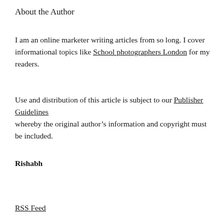About the Author
I am an online marketer writing articles from so long. I cover informational topics like School photographers London for my readers.
Use and distribution of this article is subject to our Publisher Guidelines whereby the original author’s information and copyright must be included.
Rishabh
RSS Feed